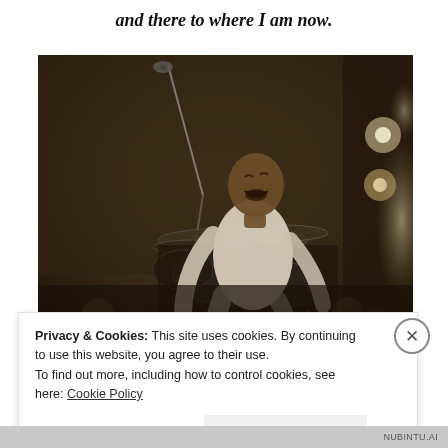and there to where I am now.
[Figure (photo): Black and white concert photo of a musician in a white outfit sitting behind a drum kit, laughing and looking upward. A microphone stand is visible on the left, and stage lights glow on the right.]
Privacy & Cookies: This site uses cookies. By continuing to use this website, you agree to their use.
To find out more, including how to control cookies, see here: Cookie Policy
Close and accept
NUBINTU.AI